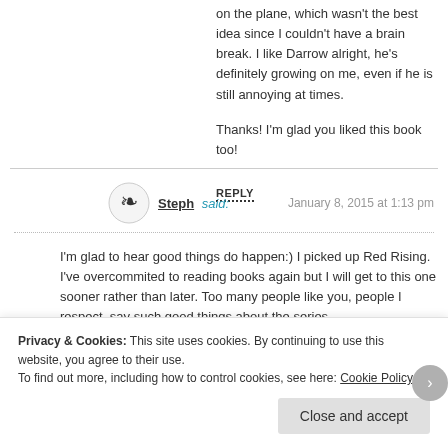on the plane, which wasn't the best idea since I couldn't have a brain break. I like Darrow alright, he's definitely growing on me, even if he is still annoying at times.
Thanks! I'm glad you liked this book too!
REPLY
Steph said: January 8, 2015 at 1:13 pm
I'm glad to hear good things do happen:) I picked up Red Rising. I've overcommited to reading books again but I will get to this one sooner rather than later. Too many people like you, people I respect, say such good things about the series.
Privacy & Cookies: This site uses cookies. By continuing to use this website, you agree to their use.
To find out more, including how to control cookies, see here: Cookie Policy
Close and accept